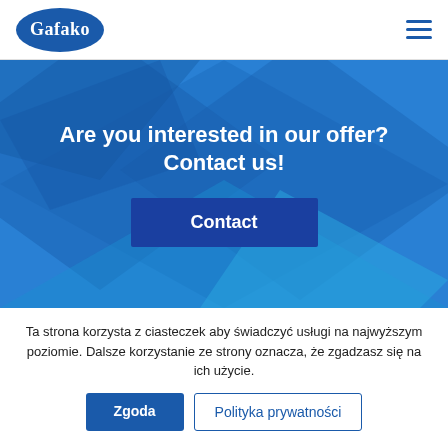[Figure (logo): Gafako logo: white text 'Gafako' in serif font inside a dark blue oval shape]
[Figure (illustration): Dark blue hamburger menu icon (three horizontal lines)]
Are you interested in our offer? Contact us!
Contact
Ta strona korzysta z ciasteczek aby świadczyć usługi na najwyższym poziomie. Dalsze korzystanie ze strony oznacza, że zgadzasz się na ich użycie.
Zgoda
Polityka prywatności